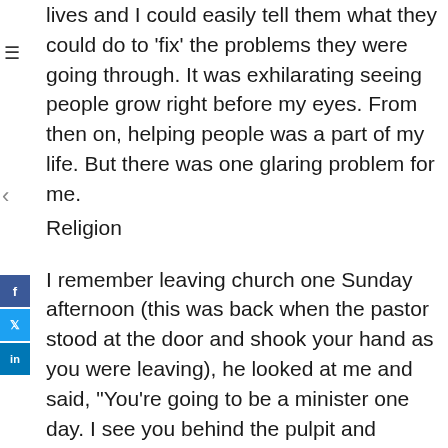lives and I could easily tell them what they could do to 'fix' the problems they were going through. It was exhilarating seeing people grow right before my eyes. From then on, helping people was a part of my life. But there was one glaring problem for me.
Religion
I remember leaving church one Sunday afternoon (this was back when the pastor stood at the door and shook your hand as you were leaving), he looked at me and said, "You're going to be a minister one day. I see you behind the pulpit and preaching to thousands of people. At the time, I said, "Is he